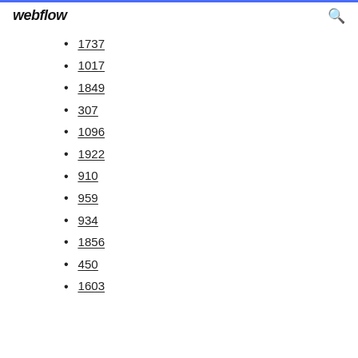webflow
1737
1017
1849
307
1096
1922
910
959
934
1856
450
1603